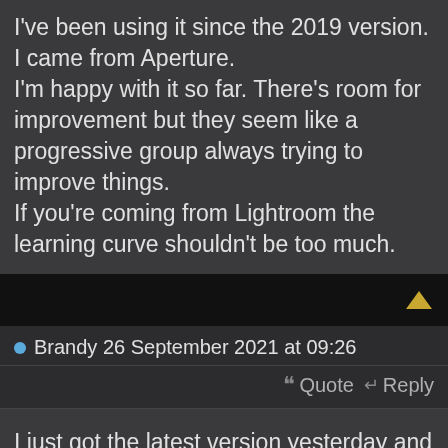I've been using it since the 2019 version. I came from Aperture.
I'm happy with it so far. There's room for improvement but they seem like a progressive group always trying to improve things.
If you're coming from Lightroom the learning curve shouldn't be too much.
Brandy 26 September 2021 at 09:26
Quote  Reply
I just got the latest version yesterday and